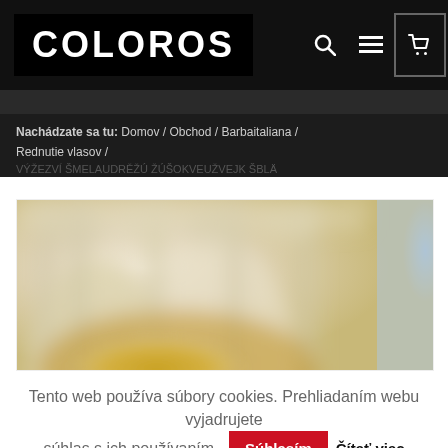COLOROS
Nachádzate sa tu: Domov / Obchod / Barbaitaliana / Rednutie vlasov /
[Figure (photo): Blurred close-up photograph of ornate stone architectural arches and columns, warm beige/cream tones with golden highlights and blue-grey on the right edge.]
Tento web používa súbory cookies. Prehliadaním webu vyjadrujete súhlas s ich používaním. Súhlasím Čítať viac